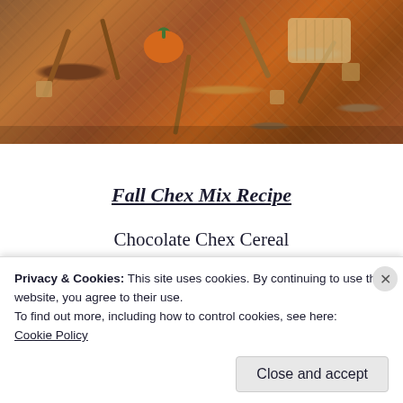[Figure (photo): Close-up photo of Fall Chex Mix snack mix with pretzels, Chex cereal pieces, and an orange candy pumpkin decoration visible among the mix]
Fall Chex Mix Recipe
Chocolate Chex Cereal
Reese's Puffs
Pretzel Sticks
Privacy & Cookies: This site uses cookies. By continuing to use this website, you agree to their use.
To find out more, including how to control cookies, see here: Cookie Policy
Close and accept